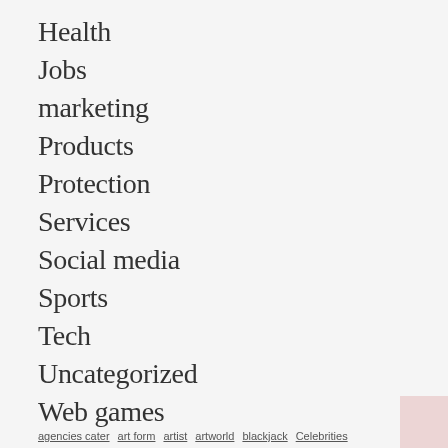Health
Jobs
marketing
Products
Protection
Services
Social media
Sports
Tech
Uncategorized
Web games
agencies cater   art form   artist   artworld   blackjack   Celebrities